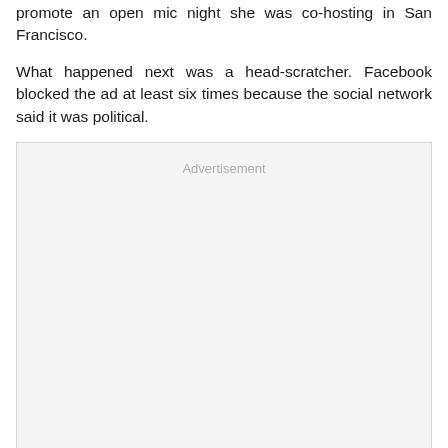promote an open mic night she was co-hosting in San Francisco.
What happened next was a head-scratcher. Facebook blocked the ad at least six times because the social network said it was political.
[Figure (other): Advertisement placeholder box with light gray background and 'Advertisement' label centered near the top.]